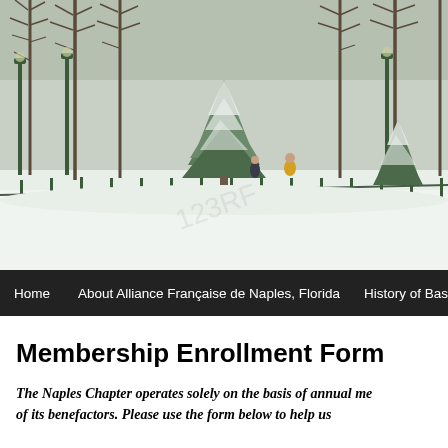[Figure (photo): Winter scene photograph showing a snow-covered park or boulevard with bare trees lining a path, snow-covered evergreen Christmas trees, lamp posts, and people walking in the background. A watermark overlay is visible.]
Home    About Alliance Française de Naples, Florida    History of Bas...
Membership Enrollment Form
The Naples Chapter operates solely on the basis of annual me... of its benefactors. Please use the form below to help us...